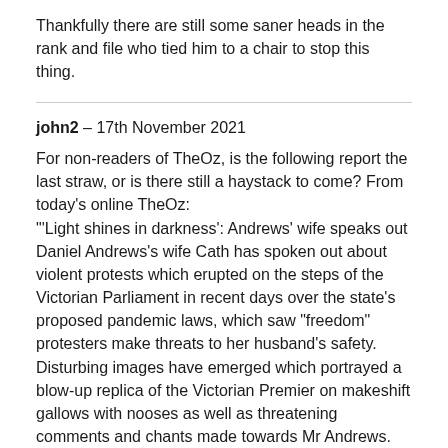Thankfully there are still some saner heads in the rank and file who tied him to a chair to stop this thing.
john2 – 17th November 2021
For non-readers of TheOz, is the following report the last straw, or is there still a haystack to come? From today's online TheOz:
"'Light shines in darkness': Andrews' wife speaks out
Daniel Andrews's wife Cath has spoken out about violent protests which erupted on the steps of the Victorian Parliament in recent days over the state's proposed pandemic laws, which saw "freedom" protesters make threats to her husband's safety.
Disturbing images have emerged which portrayed a blow-up replica of the Victorian Premier on makeshift gallows with nooses as well as threatening comments and chants made towards Mr Andrews.
One protester said into a megaphone and understood to be directed at Mr Andrews: "I look forward to the day I get to